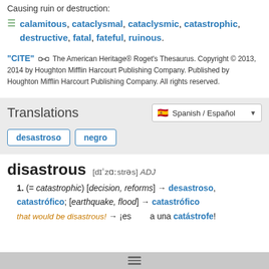Causing ruin or destruction:
calamitous, cataclysmal, cataclysmic, catastrophic, destructive, fatal, fateful, ruinous.
"CITE" [link icon] The American Heritage® Roget's Thesaurus. Copyright © 2013, 2014 by Houghton Mifflin Harcourt Publishing Company. Published by Houghton Mifflin Harcourt Publishing Company. All rights reserved.
Translations
Spanish / Español
desastroso
negro
disastrous
[dɪˈzɑːstrəs] ADJ
1. (= catastrophic) [decision, reforms] → desastroso, catastrófico; [earthquake, flood] → catastrófico
that would be disastrous! → ¡es... a una catástrofe!